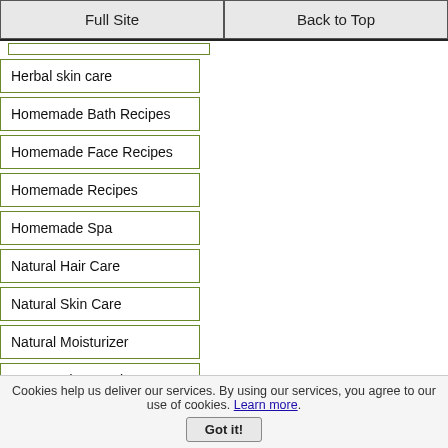Full Site | Back to Top
Herbal skin care
Homemade Bath Recipes
Homemade Face Recipes
Homemade Recipes
Homemade Spa
Natural Hair Care
Natural Skin Care
Natural Moisturizer
New Product Review
Organic Skin Care
Shea Butter
Skin Actives Reviews
Skin Tone
Cookies help us deliver our services. By using our services, you agree to our use of cookies. Learn more. Got it!